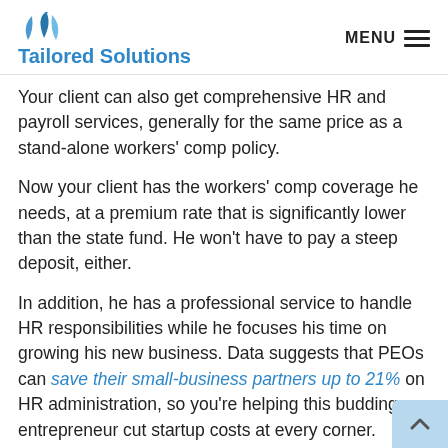Tailored Solutions | MENU
Your client can also get comprehensive HR and payroll services, generally for the same price as a stand-alone workers' comp policy.
Now your client has the workers' comp coverage he needs, at a premium rate that is significantly lower than the state fund. He won't have to pay a steep deposit, either.
In addition, he has a professional service to handle HR responsibilities while he focuses his time on growing his new business. Data suggests that PEOs can save their small-business partners up to 21% on HR administration, so you're helping this budding entrepreneur cut startup costs at every corner.